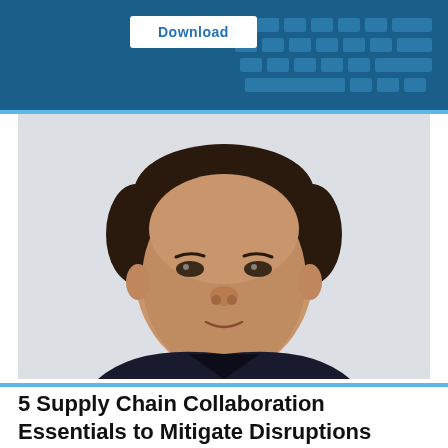[Figure (screenshot): Blue banner with white Download button and keyboard image in background]
[Figure (photo): Headshot photo of an Asian man with short dark hair wearing a dark jacket, smiling slightly against a light gray background]
5 Supply Chain Collaboration Essentials to Mitigate Disruptions